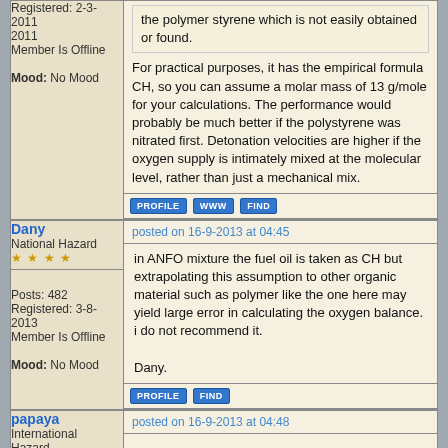Registered: 2-3-2011
Member Is Offline
Mood: No Mood
the polymer styrene which is not easily obtained or found.
For practical purposes, it has the empirical formula CH, so you can assume a molar mass of 13 g/mole for your calculations. The performance would probably be much better if the polystyrene was nitrated first. Detonation velocities are higher if the oxygen supply is intimately mixed at the molecular level, rather than just a mechanical mix.
PROFILE  WWW  FIND
Dany
National Hazard
****
posted on 16-9-2013 at 04:45
Posts: 482
Registered: 3-8-2013
Member Is Offline
Mood: No Mood
in ANFO mixture the fuel oil is taken as CH but extrapolating this assumption to other organic material such as polymer like the one here may yield large error in calculating the oxygen balance. i do not recommend it.

Dany.
PROFILE  FIND
papaya
International Hazard
*****
posted on 16-9-2013 at 04:48